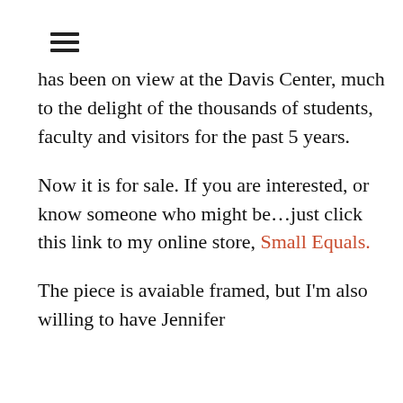≡
has been on view at the Davis Center, much to the delight of the thousands of students, faculty and visitors for the past 5 years.
Now it is for sale. If you are interested, or know someone who might be…just click this link to my online store, Small Equals.
The piece is avaiable framed, but I'm also willing to have Jennifer